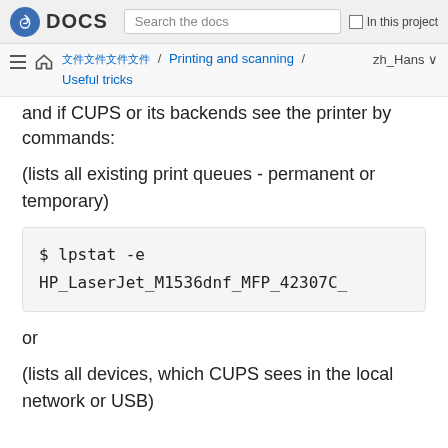Fedora DOCS | Search the docs | In this project
☰ 🏠 文件 / Printing and scanning / Useful tricks  zh_Hans ∨
and if CUPS or its backends see the printer by commands:
(lists all existing print queues - permanent or temporary)
$ lpstat -e
HP_LaserJet_M1536dnf_MFP_42307C_
or
(lists all devices, which CUPS sees in the local network or USB)